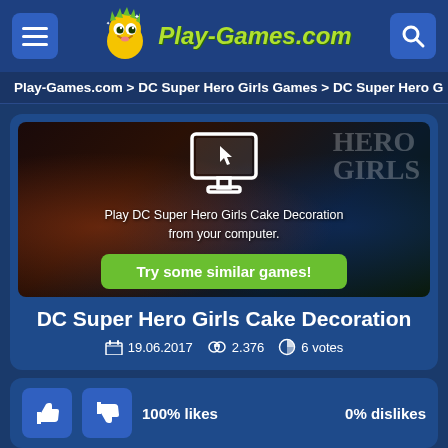[Figure (logo): Play-Games.com website header with logo, hamburger menu button, and search button on dark blue background]
Play-Games.com > DC Super Hero Girls Games > DC Super Hero G
[Figure (screenshot): DC Super Hero Girls Cake Decoration game thumbnail with Harley Quinn and Supergirl characters, monitor/computer icon overlay, text 'Play DC Super Hero Girls Cake Decoration from your computer.' and green 'Try some similar games!' button]
DC Super Hero Girls Cake Decoration
19.06.2017   2.376   6 votes
100% likes   0% dislikes